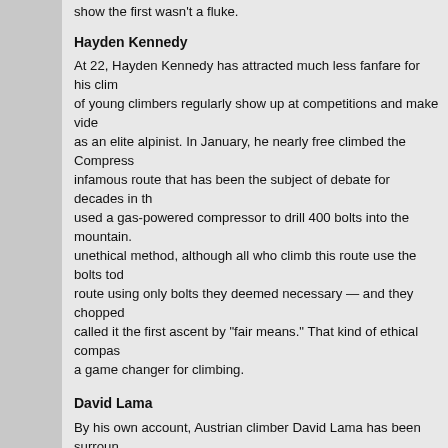show the first wasn't a fluke.
Hayden Kennedy
At 22, Hayden Kennedy has attracted much less fanfare for his climb of young climbers regularly show up at competitions and make video as an elite alpinist. In January, he nearly free climbed the Compress infamous route that has been the subject of debate for decades in th used a gas-powered compressor to drill 400 bolts into the mountain. unethical method, although all who climb this route use the bolts tod route using only bolts they deemed necessary — and they chopped called it the first ascent by "fair means." That kind of ethical compass a game changer for climbing.
David Lama
By his own account, Austrian climber David Lama has been surroun a little boy. Born to a Tibetan Sherpa, Lama was raised around climb ability. At 15, he was the youngest climber to win a world cup compe attracted a sponsorship from Red Bull. Now 21, Lama focuses on al has been locked in a duel for the most impressive ascent of Patago attempting the route using bolts for his camera crew to film, Kenned Lama responded by climbing the forbidding 4,000-foot route totally f done. The history-making Patagonian season is over, but Lama is o
Ashima Shiraishi